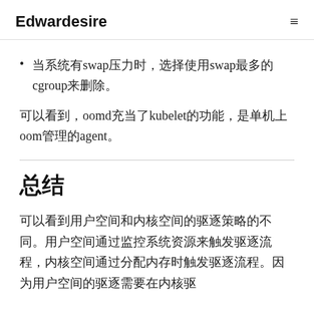Edwardesire  ≡
当系统有swap压力时，选择使用swap最多的cgroup来删除。
可以看到，oomd充当了kubelet的功能，是单机上oom管理的agent。
总结
可以看到用户空间和内核空间的驱逐策略的不同。用户空间通过监控系统资源来触发驱逐流程，内核空间通过分配内存时触发驱逐流程。因为用户空间的驱逐需要在内核驱